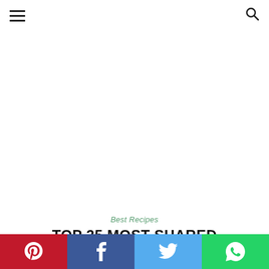[hamburger menu icon] [search icon]
[Figure (other): Large white/blank advertisement area]
Best Recipes
TOP 25 MOST SHARED MEATBALLS MARINARA RECIPES
[Figure (infographic): Social share bar with Pinterest (red), Facebook (blue), Twitter (light blue), WhatsApp (green) icons]